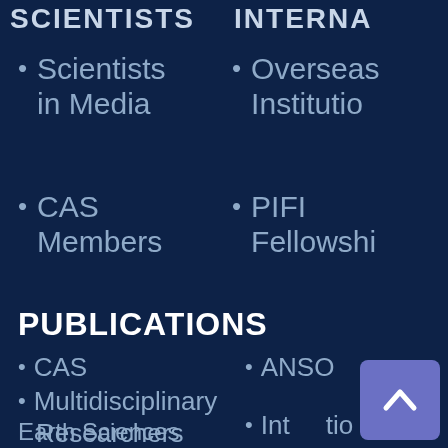SCIENTISTS   INTERNA
Scientists in Media
Overseas Institutio
CAS Members
PIFI Fellowshi
PUBLICATIONS
CAS
Multidisciplinary
Researchers
ANSO
Int lio
Earth Sciences